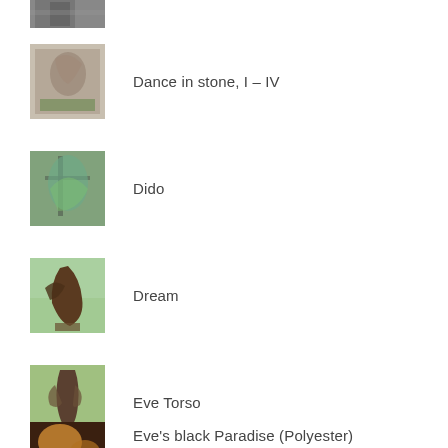[Figure (photo): Partial sculpture photo at top, cropped]
Dance in stone, I – IV
Dido
Dream
Eve Torso
Eve's black Paradise (Polyester)